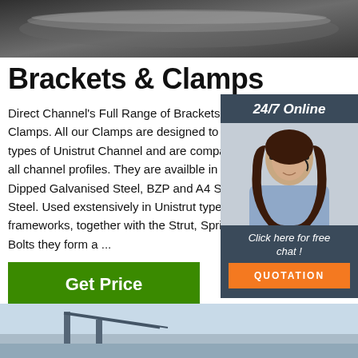[Figure (photo): Top banner photo of metal pipes/tubes in grayscale]
Brackets & Clamps
Direct Channel's Full Range of Brackets & Clamps. All our Clamps are designed to types of Unistrut Channel and are compatible with all channel profiles. They are availble in Dipped Galvanised Steel, BZP and A4 Stainless Steel. Used exstensively in Unistrut type frameworks, together with the Strut, Spring Bolts they form a ...
[Figure (photo): Sidebar with 24/7 Online support agent photo, chat button and QUOTATION button]
[Figure (other): Get Price green button]
[Figure (logo): TOP logo with orange dots]
[Figure (photo): Bottom photo of industrial structure/bridge]